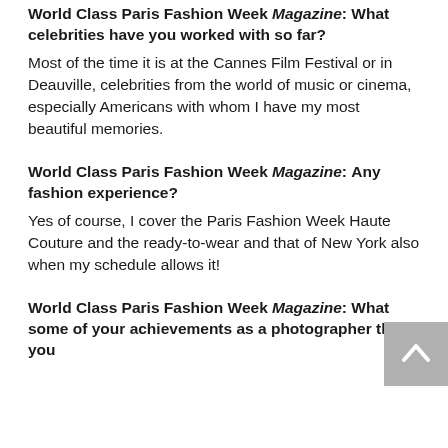World Class Paris Fashion Week Magazine: What celebrities have you worked with so far?
Most of the time it is at the Cannes Film Festival or in Deauville, celebrities from the world of music or cinema, especially Americans with whom I have my most beautiful memories.
World Class Paris Fashion Week Magazine:  Any fashion experience?
Yes of course, I cover the Paris Fashion Week Haute Couture and the ready-to-wear and that of New York also when my schedule allows it!
World Class Paris Fashion Week Magazine: What some of your achievements as a photographer that you